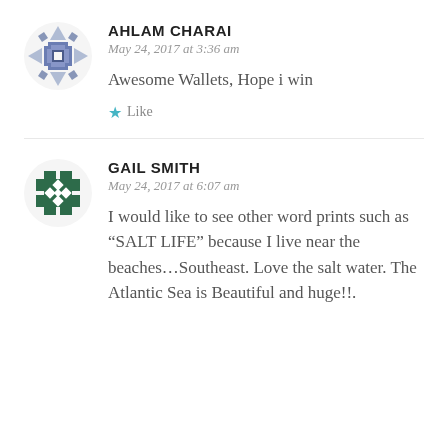[Figure (illustration): Decorative avatar icon with geometric cross/star pattern in blue-grey tones]
AHLAM CHARAI
May 24, 2017 at 3:36 am
Awesome Wallets, Hope i win
★ Like
[Figure (illustration): Decorative avatar icon with geometric cross/puzzle pattern in dark green tones]
GAIL SMITH
May 24, 2017 at 6:07 am
I would like to see other word prints such as “SALT LIFE” because I live near the beaches…Southeast. Love the salt water. The Atlantic Sea is Beautiful and huge!!.